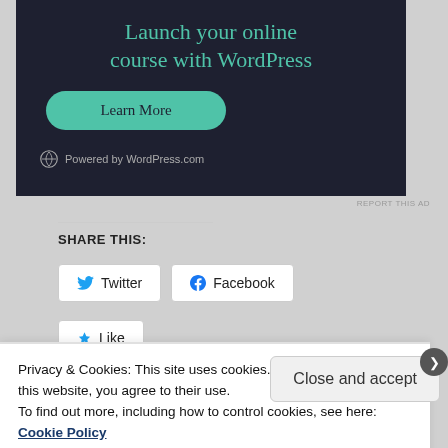[Figure (illustration): Advertisement banner with dark background (#1e2030) showing teal-colored heading 'Launch your online course with WordPress', a teal 'Learn More' button, and 'Powered by WordPress.com' text with logo at bottom.]
REPORT THIS AD
SHARE THIS:
Twitter  Facebook
Like
Privacy & Cookies: This site uses cookies. By continuing to use this website, you agree to their use.
To find out more, including how to control cookies, see here:
Cookie Policy
Close and accept